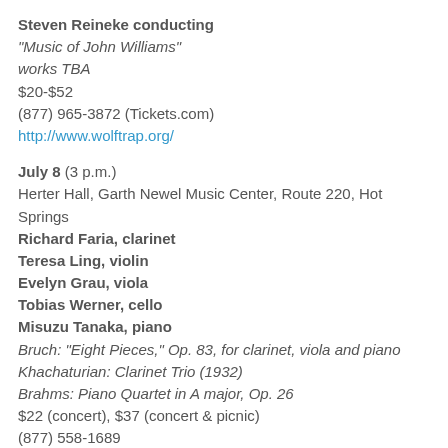Steven Reineke conducting
"Music of John Williams"
works TBA
$20-$52
(877) 965-3872 (Tickets.com)
http://www.wolftrap.org/
July 8 (3 p.m.)
Herter Hall, Garth Newel Music Center, Route 220, Hot Springs
Richard Faria, clarinet
Teresa Ling, violin
Evelyn Grau, viola
Tobias Werner, cello
Misuzu Tanaka, piano
Bruch: "Eight Pieces," Op. 83, for clarinet, viola and piano
Khachaturian: Clarinet Trio (1932)
Brahms: Piano Quartet in A major, Op. 26
$22 (concert), $37 (concert & picnic)
(877) 558-1689
http://www.garthnewel.org/